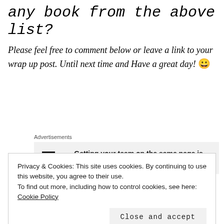any book from the above list?
Please feel free to comment below or leave a link to your wrap up post. Until next time and Have a great day! 😀
Advertisements
[Figure (other): P2 advertisement box with logo and text: Getting your team on the same page is easy. And free.]
Privacy & Cookies: This site uses cookies. By continuing to use this website, you agree to their use. To find out more, including how to control cookies, see here: Cookie Policy
Close and accept